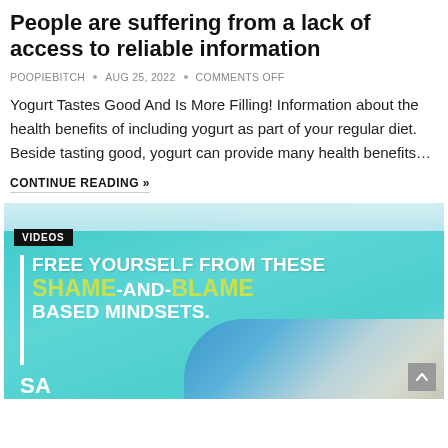People are suffering from a lack of access to reliable information
POOPIEBITCH  •  AUG 25, 2022  •  COMMENTS OFF
Yogurt Tastes Good And Is More Filling! Information about the health benefits of including yogurt as part of your regular diet. Beside tasting good, yogurt can provide many health benefits…
CONTINUE READING »
[Figure (photo): Promotional image with teal background showing text 'FREE YOURSELF FROM THESE SHAME-AND-BLAME BASED MINDSETS.' with a VIDEOS tag and a white vertical bar accent, hands visible at bottom.]